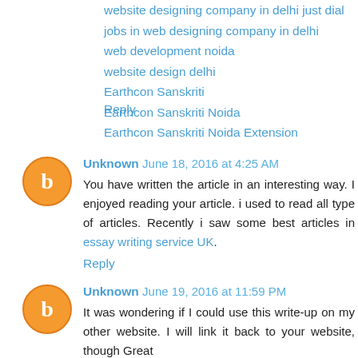website designing company in delhi just dial
jobs in web designing company in delhi
web development noida
website design delhi
Earthcon Sanskriti
Earthcon Sanskriti Noida
Earthcon Sanskriti Noida Extension
Reply
Unknown  June 18, 2016 at 4:25 AM
You have written the article in an interesting way. I enjoyed reading your article. i used to read all type of articles. Recently i saw some best articles in essay writing service UK.
Reply
Unknown  June 19, 2016 at 11:59 PM
It was wondering if I could use this write-up on my other website. I will link it back to your website, though Great